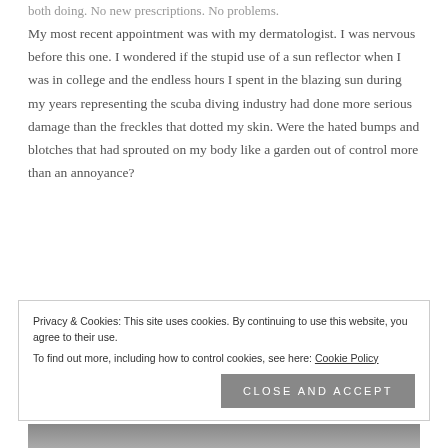My most recent appointment was with my dermatologist. I was nervous before this one. I wondered if the stupid use of a sun reflector when I was in college and the endless hours I spent in the blazing sun during my years representing the scuba diving industry had done more serious damage than the freckles that dotted my skin. Were the hated bumps and blotches that had sprouted on my body like a garden out of control more than an annoyance?
[Figure (photo): Partial view of a photo showing people, appears to be an outdoor scene, partially obscured by cookie consent banner]
Privacy & Cookies: This site uses cookies. By continuing to use this website, you agree to their use. To find out more, including how to control cookies, see here: Cookie Policy
Close and accept